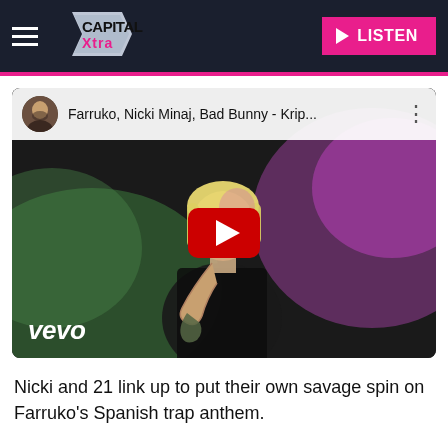[Figure (screenshot): Capital Xtra website header with hamburger menu, Capital Xtra logo, and pink LISTEN button]
[Figure (screenshot): YouTube embedded video player showing Farruko, Nicki Minaj, Bad Bunny - Krip... music video with Vevo branding, featuring a woman with blonde bob holding a snake, with red YouTube play button overlay]
Nicki and 21 link up to put their own savage spin on Farruko's Spanish trap anthem.